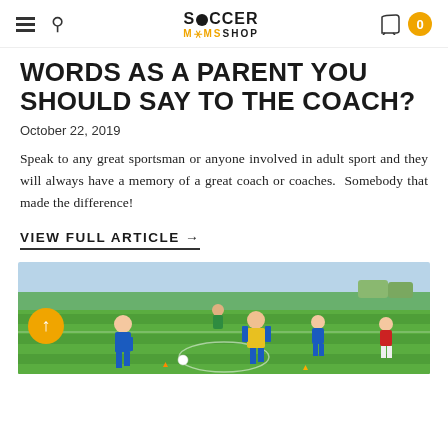Soccer Moms Shop — Navigation bar with hamburger, search, logo, cart (0)
WORDS AS A PARENT YOU SHOULD SAY TO THE COACH?
October 22, 2019
Speak to any great sportsman or anyone involved in adult sport and they will always have a memory of a great coach or coaches.  Somebody that made the difference!
VIEW FULL ARTICLE →
[Figure (photo): Children playing soccer on a green artificial turf field, wearing blue and yellow bibs]